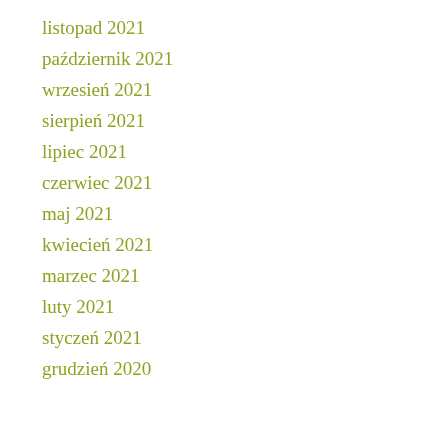listopad 2021
październik 2021
wrzesień 2021
sierpień 2021
lipiec 2021
czerwiec 2021
maj 2021
kwiecień 2021
marzec 2021
luty 2021
styczeń 2021
grudzień 2020